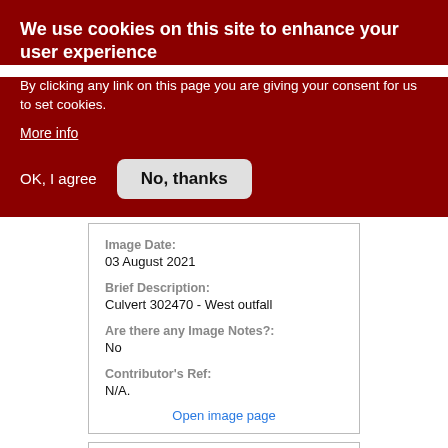We use cookies on this site to enhance your user experience
By clicking any link on this page you are giving your consent for us to set cookies.
More info
OK, I agree
No, thanks
Image Date:
03 August 2021
Brief Description:
Culvert 302470 - West outfall
Are there any Image Notes?:
No
Contributor's Ref:
N/A.
Open image page
Uploaded on 2021-08-07